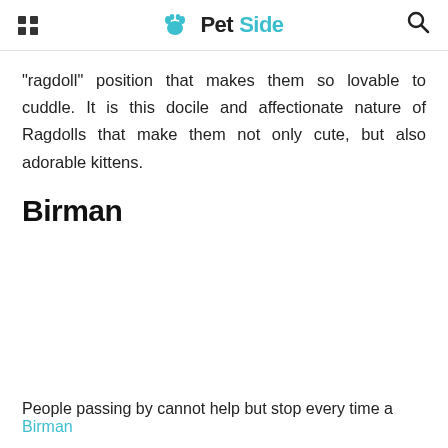PetSide
“ragdoll” position that makes them so lovable to cuddle. It is this docile and affectionate nature of Ragdolls that make them not only cute, but also adorable kittens.
Birman
People passing by cannot help but stop every time a Birman